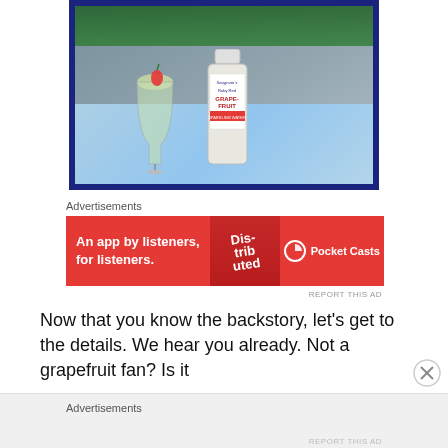[Figure (photo): Photo of a wine glass with a drink garnished with a strawberry, next to a Seagram's Grapefruit bottle, on an outdoor table with a floral tablecloth.]
Advertisements
[Figure (infographic): Red advertisement banner for Pocket Casts: 'An app by listeners, for listeners.' with 'Distributed' text on a phone graphic and Pocket Casts logo.]
REPORT THIS AD
Now that you know the backstory, let's get to the details.  We hear you already.  Not a grapefruit fan?  Is it
Advertisements
REPORT THIS AD